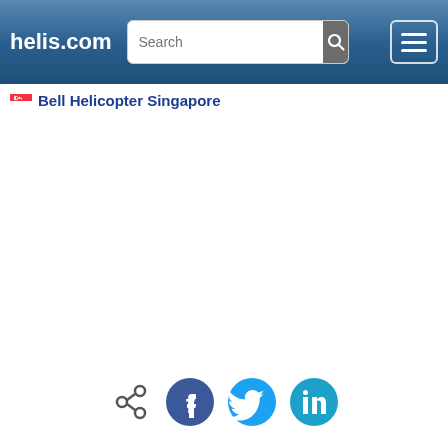helis.com — Search bar and menu
Bell Helicopter Singapore